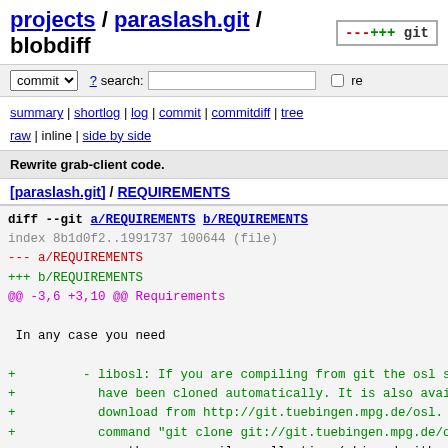projects / paraslash.git / blobdiff
commit ? search: re
summary | shortlog | log | commit | commitdiff | tree
raw | inline | side by side
Rewrite grab-client code.
[paraslash.git] / REQUIREMENTS
diff --git a/REQUIREMENTS b/REQUIREMENTS
index 8b1d0f2..1991737 100644 (file)
--- a/REQUIREMENTS
+++ b/REQUIREMENTS
@@ -3,6 +3,10 @@ Requirements

 In any case you need

+         - libosl: If you are compiling from git the osl sour
+           have been cloned automatically. It is also availab
+           download from http://git.tuebingen.mpg.de/osl. Or
+           command "git clone git://git.tuebingen.mpg.de/osl'
          - gcc, the gnu compiler collection (shipped with dis
           or newer is required.
          - gnu make (shipped with disto, might be called gmak
@@ -13,15 +17,24 @@ In any case you need
 distro, but you might have to install the "develop